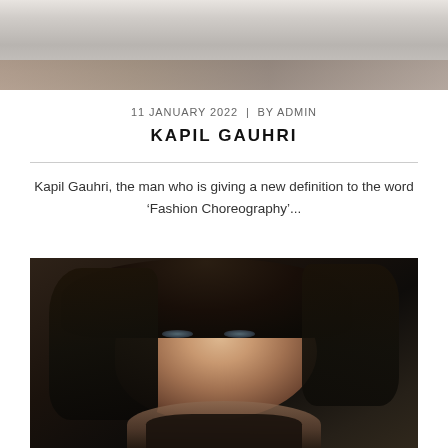[Figure (photo): Top portion of a photo showing a person on a bed or light-colored surface, partially cropped]
11 JANUARY 2022  |  BY ADMIN
KAPIL GAUHRI
Kapil Gauhri, the man who is giving a new definition to the word ‘Fashion Choreography’...
[Figure (photo): Portrait photo of a young woman with long dark hair, hand in hair, looking over shoulder against dark studio background]